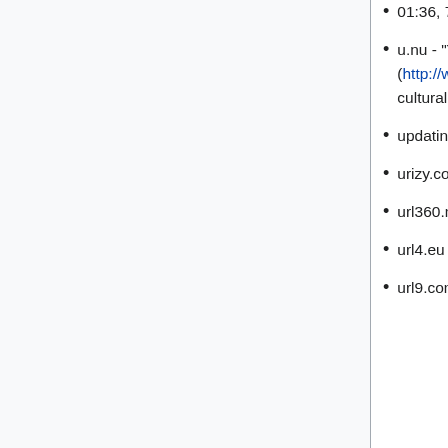01:36, 7 December 2015 (EST)
u.nu - "The shortest URLs. period." Website dead since at least 1st of october 2010 (http://web.archive.org/web/20100104023208/http://u.nu/) ; Now it is "an East-West informed pan-cultural wellness community based in NYC" as of 02:37, 29 April 2016 (EDT)
updating.me - not a URL shortening service as of 02:37, 29 April 2016 (EDT)
urizy.com - DNS not responding as of 01:36, 7 December 2015 (EST)
url360.me - DNS not responding as of 16:15, 12 December 2015 (EST)
url4.eu - Site for sale as of 02:37, 29 April 2016 (EDT)
url9.com - Sequential, alphanumeric. Leading 0s are significant. "The site